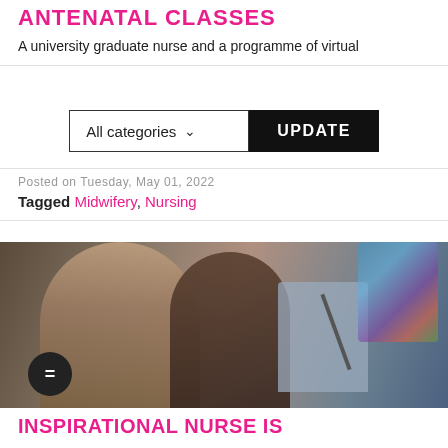ANTENATAL CLASSES
A university graduate nurse and a programme of virtual
All categories ▾
UPDATE
Posted on Tuesday, May 01, 2022
Tagged Midwifery, Nursing
[Figure (photo): Two women at a graduation ceremony, one wearing academic gown and mortarboard hat, standing at a podium with microphone, stained glass window visible in background]
INSPIRATIONAL NURSE IS